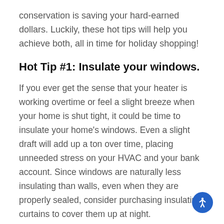conservation is saving your hard-earned dollars. Luckily, these hot tips will help you achieve both, all in time for holiday shopping!
Hot Tip #1: Insulate your windows.
If you ever get the sense that your heater is working overtime or feel a slight breeze when your home is shut tight, it could be time to insulate your home's windows. Even a slight draft will add up a ton over time, placing unneeded stress on your HVAC and your bank account. Since windows are naturally less insulating than walls, even when they are properly sealed, consider purchasing insulating curtains to cover them up at night.
Hot Tip #2: Open your blinds